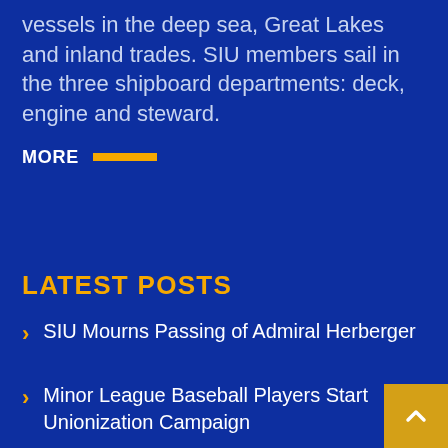vessels in the deep sea, Great Lakes and inland trades. SIU members sail in the three shipboard departments: deck, engine and steward.
MORE
LATEST POSTS
SIU Mourns Passing of Admiral Herberger
Minor League Baseball Players Start Unionization Campaign